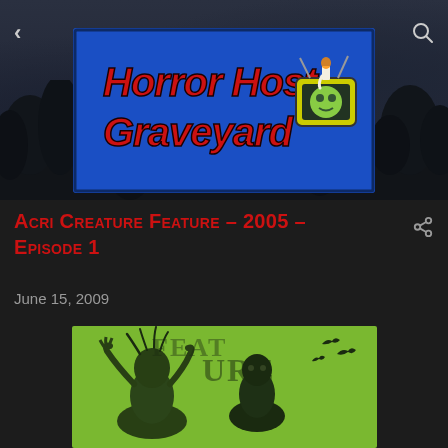[Figure (logo): Horror Host Graveyard logo banner on blue background with red horror-style lettering and green skull TV mascot illustration]
Acri Creature Feature – 2005 – Episode 1
June 15, 2009
[Figure (illustration): Green background illustration showing horror/creature feature artwork with monster figures and bats, in dark sketch style]